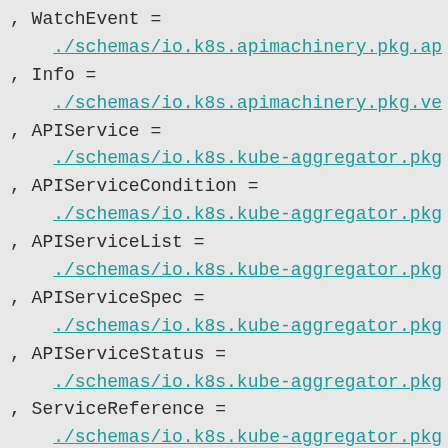, WatchEvent =
    ./schemas/io.k8s.apimachinery.pkg.ap
, Info =
    ./schemas/io.k8s.apimachinery.pkg.ve
, APIService =
    ./schemas/io.k8s.kube-aggregator.pkg
, APIServiceCondition =
    ./schemas/io.k8s.kube-aggregator.pkg
, APIServiceList =
    ./schemas/io.k8s.kube-aggregator.pkg
, APIServiceSpec =
    ./schemas/io.k8s.kube-aggregator.pkg
, APIServiceStatus =
    ./schemas/io.k8s.kube-aggregator.pkg
, ServiceReference =
    ./schemas/io.k8s.kube-aggregator.pkg
}